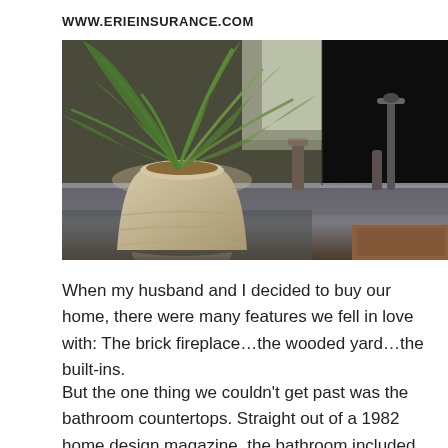WWW.ERIEINSURANCE.COM
[Figure (photo): Close-up photograph of a granite kitchen/bathroom countertop with a potted tropical plant in a stone pot on the left, and a dark backsplash with faucet fixtures on the right.]
When my husband and I decided to buy our home, there were many features we fell in love with: The brick fireplace…the wooded yard…the built-ins.
But the one thing we couldn't get past was the bathroom countertops. Straight out of a 1982 home design magazine, the bathroom included countertops